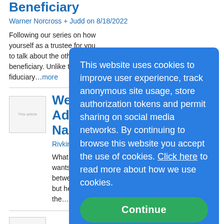Beneficiary
Warner Norcross + Judd on 8/18/2022
Following our series on how yourself as a trustee for you to talk about the other side o beneficiary. Unlike trustees, fiduciary...more
Wendy & Jen Wr Addams Family V Nanny Tried to D
Rivkin Radler LLP on 8/18/2
What happened: Fester Add wants nothing more than to between his older brother G but he is too trusting and eas the...more
This website uses cookies to improve user experience, track anonymous site usage, store authorization tokens and permit sharing on social media networks. By continuing to browse this website you accept the use of cookies. Click here to read more about how we use cookies.